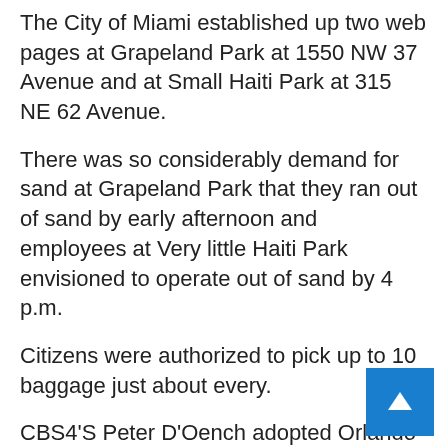The City of Miami established up two web pages at Grapeland Park at 1550 NW 37 Avenue and at Small Haiti Park at 315 NE 62 Avenue.
There was so considerably demand for sand at Grapeland Park that they ran out of sand by early afternoon and employees at Very little Haiti Park envisioned to operate out of sand by 4 p.m.
Citizens were authorized to pick up to 10 baggage just about every.
CBS4'S Peter D'Oench adopted Orlando Pedroso of Miami as he mentioned he only wanted 3 luggage of sand to safeguard his close by condominium from any flooding.
“Quite a few many years we experienced flood from a close by canal that overflowed and caused